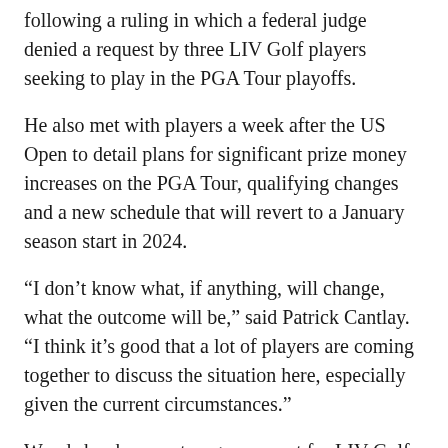following a ruling in which a federal judge denied a request by three LIV Golf players seeking to play in the PGA Tour playoffs.
He also met with players a week after the US Open to detail plans for significant prize money increases on the PGA Tour, qualifying changes and a new schedule that will revert to a January season start in 2024.
“I don’t know what, if anything, will change, what the outcome will be,” said Patrick Cantlay. “I think it’s good that a lot of players are coming together to discuss the situation here, especially given the current circumstances.”
Woods has been a strong opponent for LIV Golf. Rival league leader Greg Norman confirmed in an interview with Fox News last month that Woods was offered between $700 million and $800 million to participate. Norman said that was before he was hired to run LIV Golf.
Norman and Woods have never been close, dating back to when Woods first arrived on the PGA Tour and instantly became golf’s biggest star in generations.